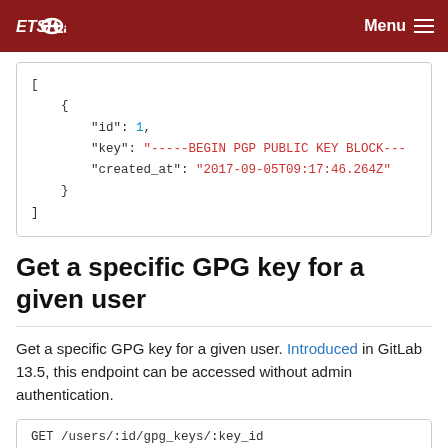ETSI Labs   Menu
[
    {
        "id": 1,
        "key": "-----BEGIN PGP PUBLIC KEY BLOCK---
        "created_at": "2017-09-05T09:17:46.264Z"
    }
]
Get a specific GPG key for a given user
Get a specific GPG key for a given user. Introduced in GitLab 13.5, this endpoint can be accessed without admin authentication.
GET /users/:id/gpg_keys/:key_id